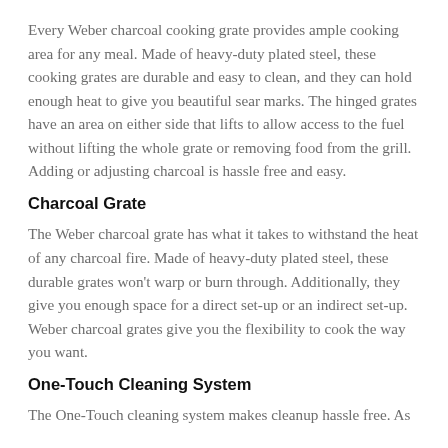Every Weber charcoal cooking grate provides ample cooking area for any meal. Made of heavy-duty plated steel, these cooking grates are durable and easy to clean, and they can hold enough heat to give you beautiful sear marks. The hinged grates have an area on either side that lifts to allow access to the fuel without lifting the whole grate or removing food from the grill. Adding or adjusting charcoal is hassle free and easy.
Charcoal Grate
The Weber charcoal grate has what it takes to withstand the heat of any charcoal fire. Made of heavy-duty plated steel, these durable grates won't warp or burn through. Additionally, they give you enough space for a direct set-up or an indirect set-up. Weber charcoal grates give you the flexibility to cook the way you want.
One-Touch Cleaning System
The One-Touch cleaning system makes cleanup hassle free. As